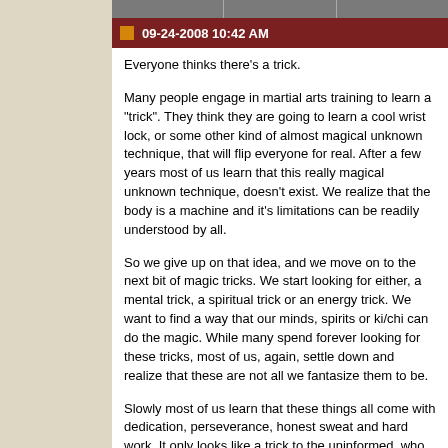09-24-2008 10:42 AM
Everyone thinks there's a trick.

Many people engage in martial arts training to learn a "trick". They think they are going to learn a cool wrist lock, or some other kind of almost magical unknown technique, that will flip everyone for real. After a few years most of us learn that this really magical unknown technique, doesn't exist. We realize that the body is a machine and it's limitations can be readily understood by all.

So we give up on that idea, and we move on to the next bit of magic tricks. We start looking for either, a mental trick, a spiritual trick or an energy trick. We want to find a way that our minds, spirits or ki/chi can do the magic. While many spend forever looking for these tricks, most of us, again, settle down and realize that these are not all we fantasize them to be.

Slowly most of us learn that these things all come with dedication, perseverance, honest sweat and hard work. It only looks like a trick to the uninformed, who don't understand that it took time to learn these things, and that if it could be given over night, it truly would be just a "trick".

However most of us continue to fool our selves. We think that training in the martial arts is going to com...